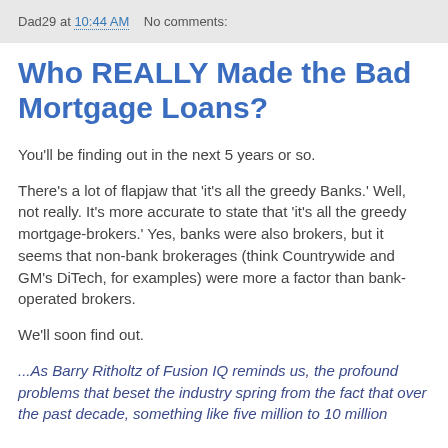Dad29 at 10:44 AM    No comments:
Who REALLY Made the Bad Mortgage Loans?
You'll be finding out in the next 5 years or so.
There's a lot of flapjaw that 'it's all the greedy Banks.' Well, not really. It's more accurate to state that 'it's all the greedy mortgage-brokers.' Yes, banks were also brokers, but it seems that non-bank brokerages (think Countrywide and GM's DiTech, for examples) were more a factor than bank-operated brokers.
We'll soon find out.
...As Barry Ritholtz of Fusion IQ reminds us, the profound problems that beset the industry spring from the fact that over the past decade, something like five million to 10 million